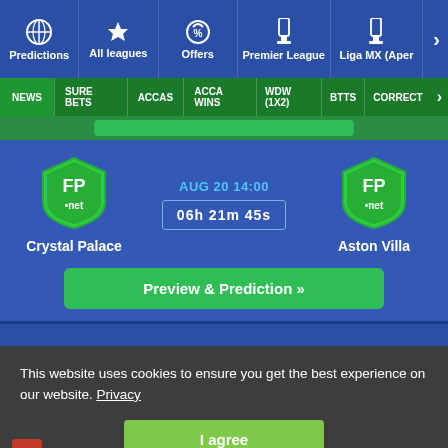Predictions | All leagues | Offers | Premier League | Liga MX (Aper
NEWS | SURE BETS | ACCAS | ACCA WINS | WDW (1X2) | BTTS | CORRECT
AUG 20 14:00
06h 21m 45s
Crystal Palace
Aston Villa
Preview & Prediction »
This website uses cookies to ensure you get the best experience on our website. Privacy
I agree